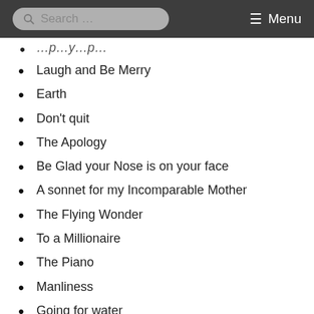Search ... Menu
Laugh and Be Merry
Earth
Don't quit
The Apology
Be Glad your Nose is on your face
A sonnet for my Incomparable Mother
The Flying Wonder
To a Millionaire
The Piano
Manliness
Going for water
The cry of the Children
Migrant Bird
Shilpi